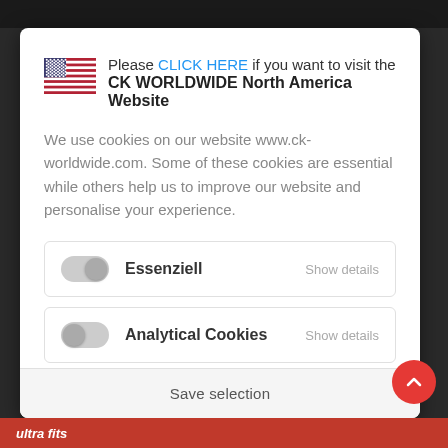Please CLICK HERE if you want to visit the CK WORLDWIDE North America Website
We use cookies on our website www.ck-worldwide.com. Some of these cookies are essential while others help us to improve our website and personalise your experience.
Essenziell   Show details
Analytical Cookies   Show details
Save selection